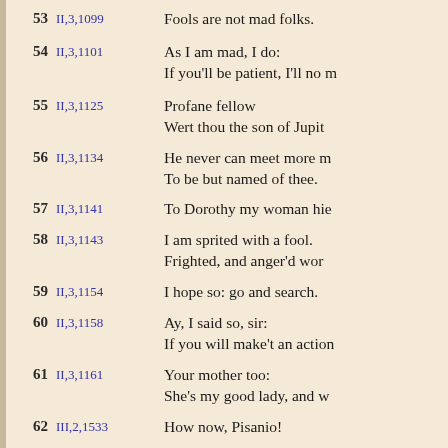53  II,3,1099  Fools are not mad folks.
54  II,3,1101  As I am mad, I do:
If you'll be patient, I'll no m
55  II,3,1125  Profane fellow
Wert thou the son of Jupit
56  II,3,1134  He never can meet more m
To be but named of thee.
57  II,3,1141  To Dorothy my woman hie
58  II,3,1143  I am sprited with a fool.
Frighted, and anger'd wor
59  II,3,1154  I hope so: go and search.
60  II,3,1158  Ay, I said so, sir:
If you will make't an action
61  II,3,1161  Your mother too:
She's my good lady, and w
62  III,2,1533  How now, Pisanio!
63  III,2,1535  Who? thy lord? that is m